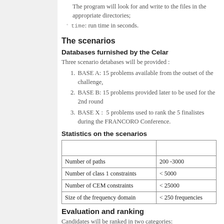The program will look for and write to the files in the appropriate directories;
time: run time in seconds.
The scenarios
Databases furnished by the Celar
Three scenario detabases will be provided :
BASE A: 15 problems available from the outset of the challenge,
BASE B: 15 problems provided later to be used for the 2nd round
BASE X :  5 problems used to rank the 5 finalistes during the FRANCORO Conference.
Statistics on the scenarios
|  |  |
| --- | --- |
| Number of paths | 200 -3000 |
| Number of class 1 constraints | < 5000 |
| Number of CEM constraints | < 25000 |
| Size of the frequency domain | < 250 frequencies |
Evaluation and ranking
Candidates will be ranked in two categories: